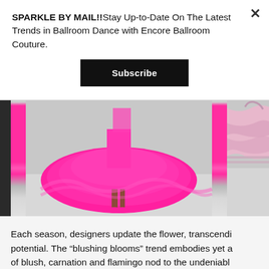SPARKLE BY MAIL!!Stay Up-to-Date On The Latest Trends in Ballroom Dance with Encore Ballroom Couture.
Subscribe
[Figure (photo): A hot pink/magenta voluminous tulle ballroom dress with matching shoes, partially cropped, alongside a blush pink ruffled garment on the right edge.]
Each season, designers update the flower, transcendi… potential. The “blushing blooms” trend embodies yet a… of blush, carnation and flamingo nod to the undeniabl…
A favorite look from the Giambattista Valli 2019 fall ha… this trend. A tower of flowers in blush pink comprised t…